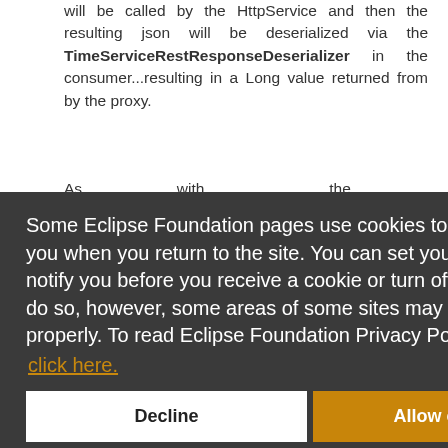will be called by the HttpService and then the resulting json will be deserialized via the TimeServiceRestResponseDeserializer in the consumer...resulting in a Long value returned from by the proxy.
As with the
Some Eclipse Foundation pages use cookies to better serve you when you return to the site. You can set your browser to notify you before you receive a cookie or turn off cookies. If you do so, however, some areas of some sites may not function properly. To read Eclipse Foundation Privacy Policy click here.
Decline
Allow cookies
Note that both this consumer code and the host code (except for the service property values on the host)